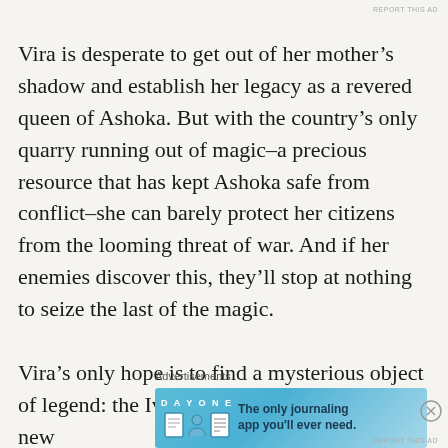REPORT THIS AD
Vira is desperate to get out of her mother’s shadow and establish her legacy as a revered queen of Ashoka. But with the country’s only quarry running out of magic–a precious resource that has kept Ashoka safe from conflict–she can barely protect her citizens from the looming threat of war. And if her enemies discover this, they’ll stop at nothing to seize the last of the magic.

Vira’s only hope is to find a mysterious object of legend: the Ivory Key, rumored to unlock a new
Advertisements
[Figure (infographic): DAY ONE app advertisement banner with blue background. Shows 'DAY ONE' text with three icons (notebook, person, list) and tagline 'The only journaling app you'll ever need.']
REPORT THIS AD